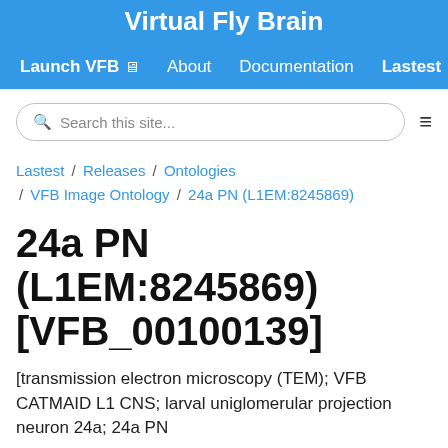Virtual Fly Brain
Launch VFB  About  Documentation  Lastest
Search this site...
Lastest / Releases / Ontologies / VFB Image Ontology / 24a PN (L1EM:8245869)
24a PN (L1EM:8245869) [VFB_00100139]
[transmission electron microscopy (TEM); VFB CATMAID L1 CNS; larval uniglomerular projection neuron 24a; 24a PN